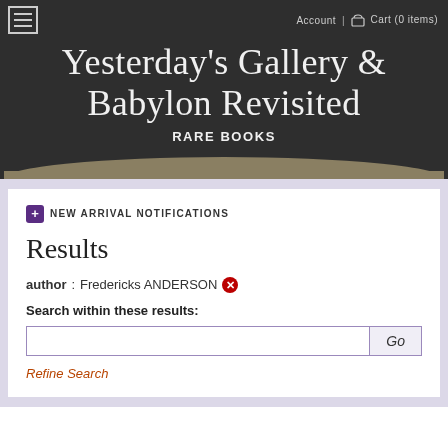Account | Cart (0 items)
Yesterday's Gallery & Babylon Revisited
RARE BOOKS
NEW ARRIVAL NOTIFICATIONS
Results
author: Fredericks ANDERSON
Search within these results:
Refine Search